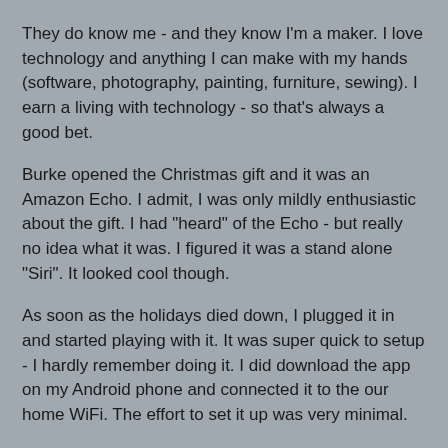They do know me - and they know I'm a maker. I love technology and anything I can make with my hands (software, photography, painting, furniture, sewing). I earn a living with technology - so that's always a good bet.
Burke opened the Christmas gift and it was an Amazon Echo. I admit, I was only mildly enthusiastic about the gift. I had "heard" of the Echo - but really no idea what it was. I figured it was a stand alone "Siri". It looked cool though.
As soon as the holidays died down, I plugged it in and started playing with it. It was super quick to setup - I hardly remember doing it. I did download the app on my Android phone and connected it to the our home WiFi. The effort to set it up was very minimal.
The first thing I wanted to do was change her name. I was not thrilled with the name, but found that I could not rename her. Not really .... I could choose either Amazon or Alexa. So Alexa it is.